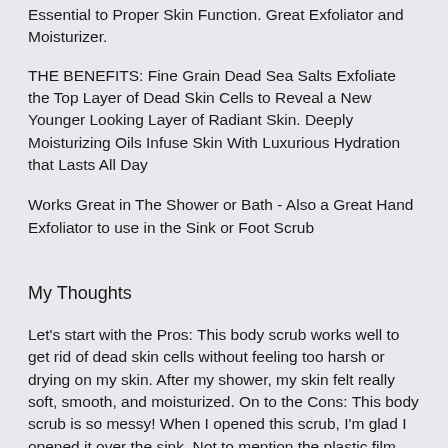Essential to Proper Skin Function. Great Exfoliator and Moisturizer.
THE BENEFITS: Fine Grain Dead Sea Salts Exfoliate the Top Layer of Dead Skin Cells to Reveal a New Younger Looking Layer of Radiant Skin. Deeply Moisturizing Oils Infuse Skin With Luxurious Hydration that Lasts All Day
Works Great in The Shower or Bath - Also a Great Hand Exfoliator to use in the Sink or Foot Scrub
My Thoughts
Let's start with the Pros: This body scrub works well to get rid of dead skin cells without feeling too harsh or drying on my skin. After my shower, my skin felt really soft, smooth, and moisturized. On to the Cons: This body scrub is so messy! When I opened this scrub, I'm glad I opened it over the sink. Not to mention the plastic film covering was hard to get off. I ended up using a pair scissors to get it